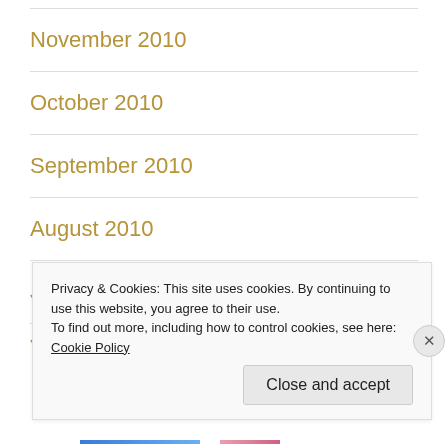November 2010
October 2010
September 2010
August 2010
July 2010
June 2010
Privacy & Cookies: This site uses cookies. By continuing to use this website, you agree to their use.
To find out more, including how to control cookies, see here: Cookie Policy
Close and accept